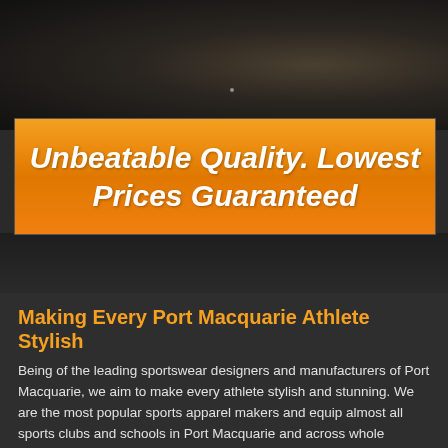[Figure (photo): Dark textured background image, appears to be a sports or action scene with dark and brownish tones]
Unbeatable Quality. Lowest Prices Guaranteed
Making Every Port Macquarie Athlete Stylish
Being of the leading sportswear designers and manufacturers of Port Macquarie, we aim to make every athlete stylish and stunning. We are the most popular sports apparel makers and equip almost all sports clubs and schools in Port Macquarie and across whole Australia. Quality fabric, artistic approach and competitive prices are the major business ethics we follow. Being sports enthusiasts just like you, we recognize the preferences and requirements of penetrable and quality sports outfits.